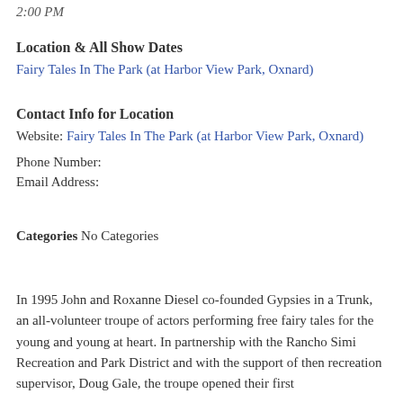2:00 PM
Location & All Show Dates
Fairy Tales In The Park (at Harbor View Park, Oxnard)
Contact Info for Location
Website: Fairy Tales In The Park (at Harbor View Park, Oxnard)
Phone Number:
Email Address:
Categories No Categories
In 1995 John and Roxanne Diesel co-founded Gypsies in a Trunk, an all-volunteer troupe of actors performing free fairy tales for the young and young at heart. In partnership with the Rancho Simi Recreation and Park District and with the support of then recreation supervisor, Doug Gale, the troupe opened their first